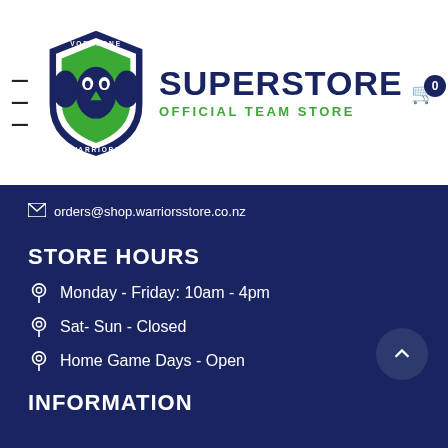[Figure (logo): Vodafone Warriors Superstore Official Team Store logo with shield emblem]
orders@shop.warriorsstore.co.nz
STORE HOURS
Monday - Friday: 10am - 4pm
Sat- Sun - Closed
Home Game Days - Open
INFORMATION